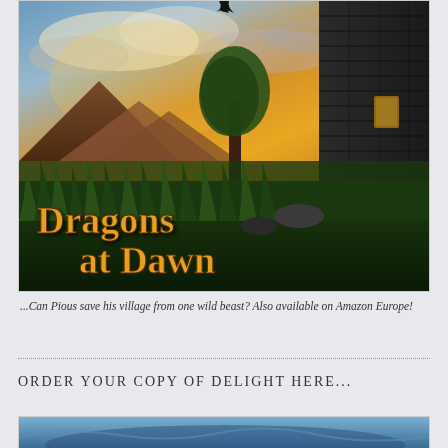[Figure (illustration): Book cover for 'Dragons at Dawn' showing a dark stone tower on the right, dramatic sunset sky with golden clouds, mountains in the background, and lush green foreground vegetation. The title 'Dragons at Dawn' is displayed in large golden medieval-style typography over the scene.]
...Can Pious save his village from one wild beast? Also available on Amazon Europe!
ORDER YOUR COPY OF DELIGHT HERE...
[Figure (illustration): Partial view of another book cover at the bottom of the page, showing a blue/teal scene.]